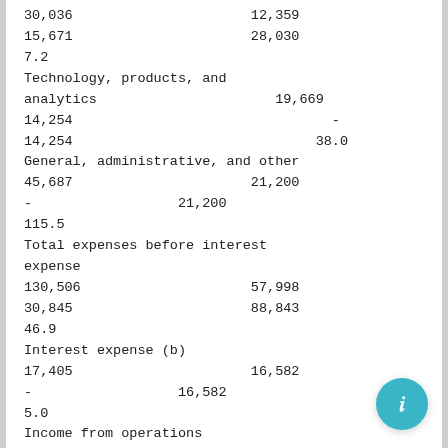| 30,036 | 12,359 |  |
| 15,671 | 28,030 |  |
| 7.2 |  |  |
| Technology, products, and analytics | 19,669 |  |
| 14,254 | - |  |
| 14,254 |  | 38.0 |
| General, administrative, and other |  |  |
| 45,687 | 21,200 |  |
| - | 21,200 |  |
| 115.5 |  |  |
| Total expenses before interest expense |  |  |
| 130,506 | 57,998 |  |
| 30,845 | 88,843 |  |
| 46.9 |  |  |
| Interest expense (b) |  |  |
| 17,405 | 16,582 |  |
| - | 16,582 |  |
| 5.0 |  |  |
| Income from operations |  |  |